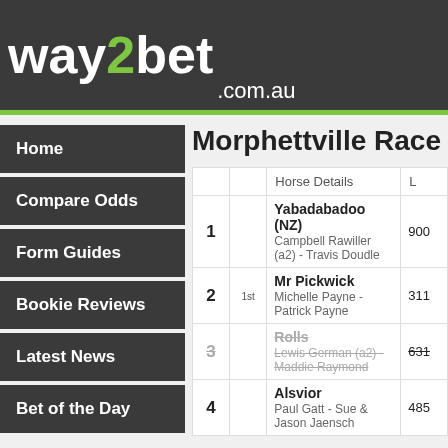way2bet .com.au
Home
Compare Odds
Form Guides
Bookie Reviews
Latest News
Bet of the Day
Morphettville Race 9
|  |  | Horse Details | L |
| --- | --- | --- | --- |
| 1 |  | Yabadabadoo (NZ)
Campbell Rawiller (a2) - Travis Doudle | 900 |
| 2 | 1st | Mr Pickwick
Michelle Payne - Patrick Payne | 311 |
| 3 |  | Rolls
Lewis German (a2) - Maddie Raymond | 631 |
| 4 |  | Alsvior
Paul Gatt - Sue & Jason Jaensch | 485 |